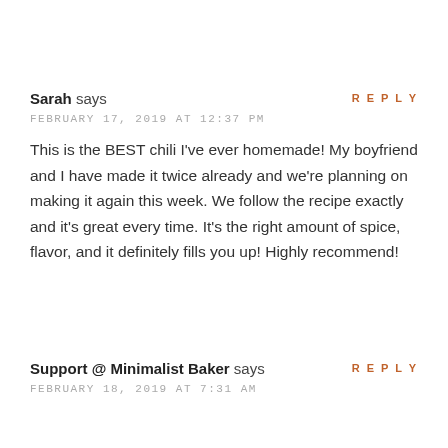REPLY
Sarah says
FEBRUARY 17, 2019 AT 12:37 PM
This is the BEST chili I've ever homemade! My boyfriend and I have made it twice already and we're planning on making it again this week. We follow the recipe exactly and it's great every time. It's the right amount of spice, flavor, and it definitely fills you up! Highly recommend!
REPLY
Support @ Minimalist Baker says
FEBRUARY 18, 2019 AT 7:31 AM